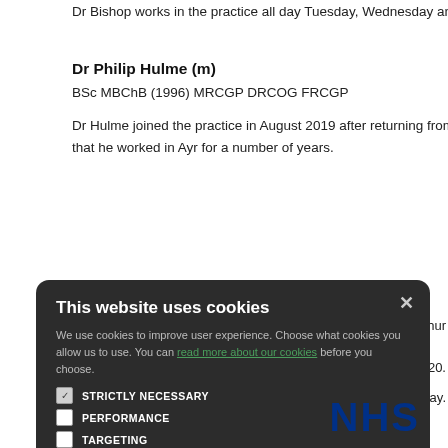Dr Bishop works in the practice all day Tuesday, Wednesday and Frida…
Dr Philip Hulme (m)
BSc MBChB (1996) MRCGP DRCOG FRCGP
Dr Hulme joined the practice in August 2019 after returning from a… that he worked in Ayr for a number of years.
…ay, Wednesday, Thur…
…2020.
…Tuesday.
…ond week. He is a G… E at Crosshouse Ho…
[Figure (screenshot): Cookie consent modal dialog with dark background reading 'This website uses cookies'. Contains body text about cookies, a link 'read more about our cookies', four checkboxes (STRICTLY NECESSARY checked, PERFORMANCE, TARGETING, FUNCTIONALITY unchecked), and two buttons: ACCEPT ALL (green) and DECLINE ALL (outline).]
NHS